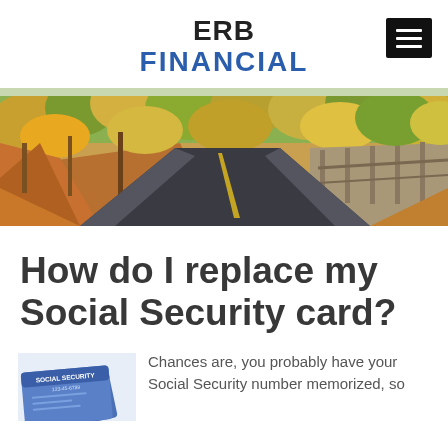ERB FINANCIAL
[Figure (photo): Winding road through autumn forest with colorful foliage — orange, yellow, and green trees lining both sides of a curved asphalt road with yellow center line.]
How do I replace my Social Security card?
[Figure (photo): Partial view of Social Security card(s), blue-tinted, partially visible at bottom-left corner.]
Chances are, you probably have your Social Security number memorized, so